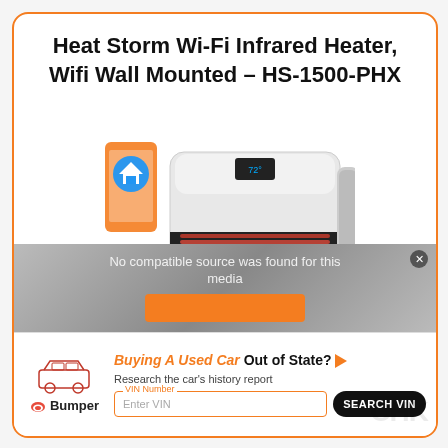Heat Storm Wi-Fi Infrared Heater, Wifi Wall Mounted – HS-1500-PHX
[Figure (photo): Heat Storm HS-1500-PHX wall-mounted infrared heater in white/black, shown with a smartphone displaying a smart home app icon]
[Figure (screenshot): Video player overlay with message 'No compatible source was found for this media' and orange play bar, overlaid with Bumper advertisement: 'Buying A Used Car Out of State? Research the car's history report' with VIN Number input field and SEARCH VIN button]